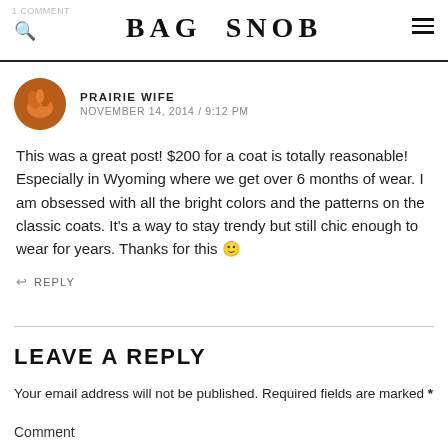BAG SNOB
PRAIRIE WIFE
NOVEMBER 14, 2014 / 9:12 PM
This was a great post! $200 for a coat is totally reasonable! Especially in Wyoming where we get over 6 months of wear. I am obsessed with all the bright colors and the patterns on the classic coats. It's a way to stay trendy but still chic enough to wear for years. Thanks for this 🙂
↩ REPLY
LEAVE A REPLY
Your email address will not be published. Required fields are marked *
Comment